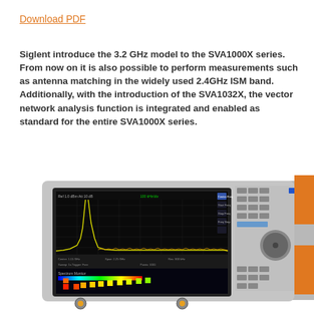Download PDF
Siglent introduce the 3.2 GHz model to the SVA1000X series. From now on it is also possible to perform measurements such as antenna matching in the widely used 2.4GHz ISM band. Additionally, with the introduction of the SVA1032X, the vector network analysis function is integrated and enabled as standard for the entire SVA1000X series.
[Figure (photo): Photo of a Siglent SVA1000X spectrum/vector network analyzer instrument showing its display screen with spectrum and heatmap measurements, front panel with buttons and a rotary knob, and RF connectors at the bottom.]